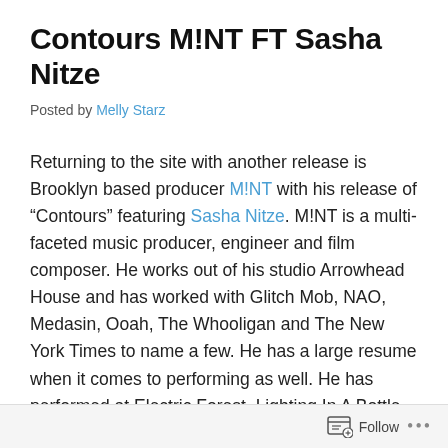Contours M!NT FT Sasha Nitze
Posted by Melly Starz
Returning to the site with another release is Brooklyn based producer M!NT with his release of “Contours” featuring Sasha Nitze. M!NT is a multi-faceted music producer, engineer and film composer. He works out of his studio Arrowhead House and has worked with Glitch Mob, NAO, Medasin, Ooah, The Whooligan and The New York Times to name a few. He has a large resume when it comes to performing as well. He has performed at Electric Forest, Lighting In A Bottle, What The Festival, Mysteryland and Shambala.
Follow